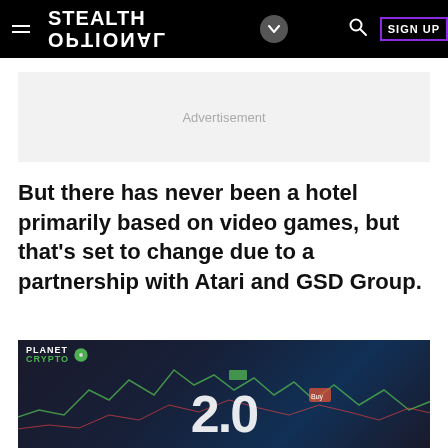STEALTH OPTIONAL — navigation bar with logo, hamburger menu, search, and SIGN UP button
Advertisement
But there has never been a hotel primarily based on video games, but that’s set to change due to a partnership with Atari and GSD Group.
[Figure (screenshot): Planet Crypto advertisement image showing a laptop screen with trading charts and the number 2.0 displayed prominently]